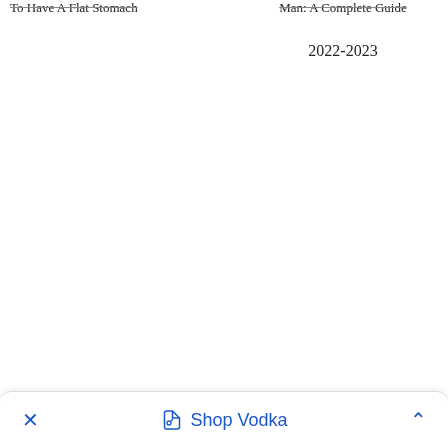To Have A Flat Stomach
Man: A Complete Guide 2022-2023
× Shop Vodka ^